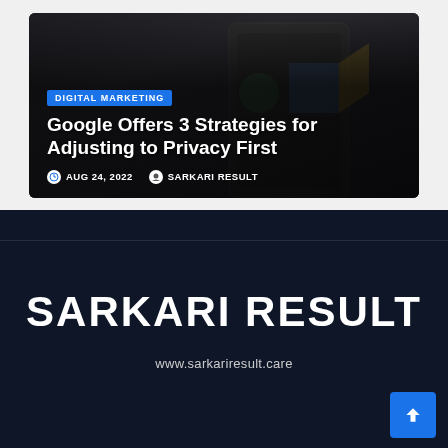[Figure (screenshot): Article card with dark overlay image showing smartphone/tablet with Google app visible. Category badge 'DIGITAL MARKETING' in blue, article title in white, and meta info showing date and author.]
Google Offers 3 Strategies for Adjusting to Privacy First
AUG 24, 2022  SARKARI RESULT
SARKARI RESULT
www.sarkariresult.care